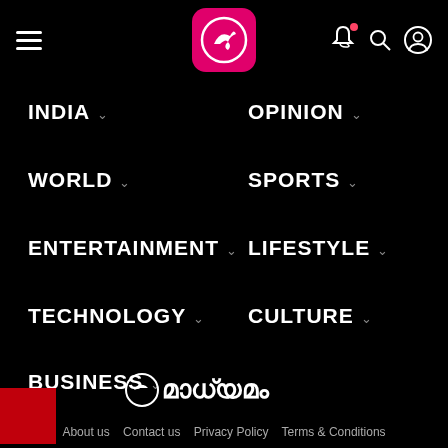Navigation header with hamburger menu, Madhyamam logo (pink icon), notification bell, search, and user icons
INDIA
OPINION
WORLD
SPORTS
ENTERTAINMENT
LIFESTYLE
TECHNOLOGY
CULTURE
BUSINESS
[Figure (logo): Madhyamam logo: circular arrow icon followed by Malayalam script text on black background]
About us   Contact us   Privacy Policy   Terms & Conditions